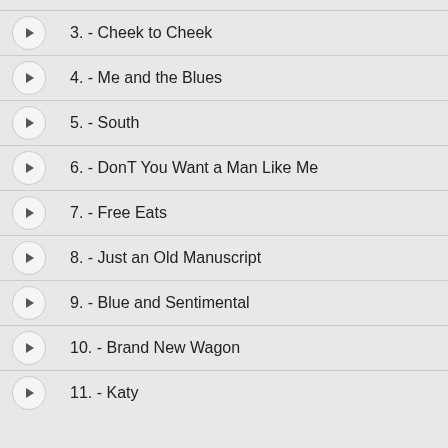3. - Cheek to Cheek
4. - Me and the Blues
5. - South
6. - DonT You Want a Man Like Me
7. - Free Eats
8. - Just an Old Manuscript
9. - Blue and Sentimental
10. - Brand New Wagon
11. - Katy